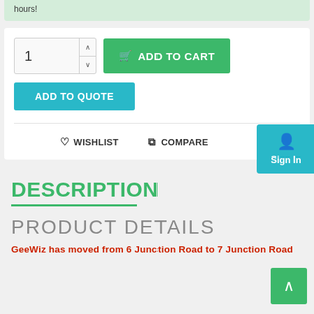hours!
1
ADD TO CART
ADD TO QUOTE
WISHLIST
COMPARE
Sign In
DESCRIPTION
PRODUCT DETAILS
GeeWiz has moved from 6 Junction Road to 7 Junction Road